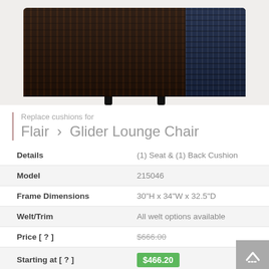[Figure (photo): Dark brown wicker/rattan furniture piece (ottoman or base of lounge chair) photographed from above-front angle, showing woven texture. Right side shows dark blue wicker panel.]
Replace cushions for
Flair › Glider Lounge Chair
| Field | Value |
| --- | --- |
| Details | (1) Seat & (1) Back Cushion |
| Model | 215046 |
| Frame Dimensions | 30"H x 34"W x 32.5"D |
| Welt/Trim | All welt options available |
| Price [ ? ] | $666.00 |
| Starting at [ ? ] | $466.20 |